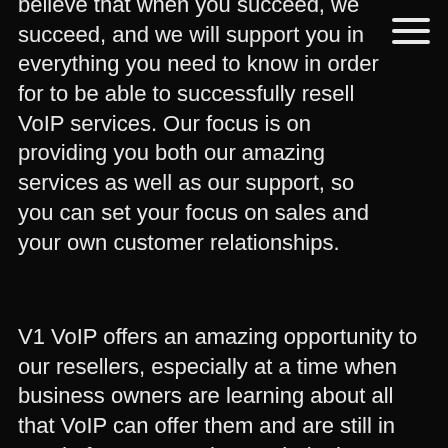believe that when you succeed, we succeed, and we will support you in everything you need to know in order for to be able to successfully resell VoIP services. Our focus is on providing you both our amazing services as well as our support, so you can set your focus on sales and your own customer relationships.
V1 VoIP offers an amazing opportunity to our resellers, especially at a time when business owners are learning about all that VoIP can offer them and are still in need of someone who can help them transition from an outdated landline to state of the art VoIP solutions.
If you're ready to launch your career as your own boss, then contact V1 VoIP today. The longer you wait to sign up to start reselling VoIP services, the longer it will be until your